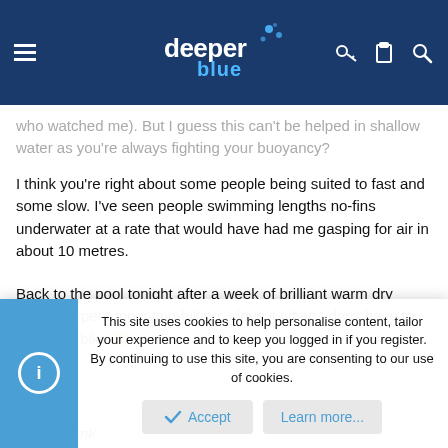deeper blue — site navigation header
who watched me). But I guess this can't be helped in shallow water as you're always fighting your buoyancy?
I think you're right about some people being suited to fast and some slow. I've seen people swimming lengths no-fins underwater at a rate that would have had me gasping for air in about 10 metres.
Back to the pool tonight after a week of brilliant warm dry weather spent mountain-biking. I love it when I don't have to clean my bike 😀
Bryan
Erik
This site uses cookies to help personalise content, tailor your experience and to keep you logged in if you register. By continuing to use this site, you are consenting to our use of cookies.